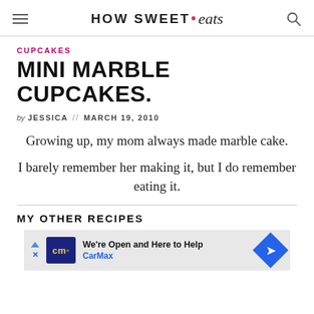HOW SWEET • eats
CUPCAKES
MINI MARBLE CUPCAKES.
by JESSICA // MARCH 19, 2010
Growing up, my mom always made marble cake.
I barely remember her making it, but I do remember eating it.
MY OTHER RECIPES
[Figure (other): Advertisement banner for CarMax with text 'We're Open and Here to Help' and CarMax logo]